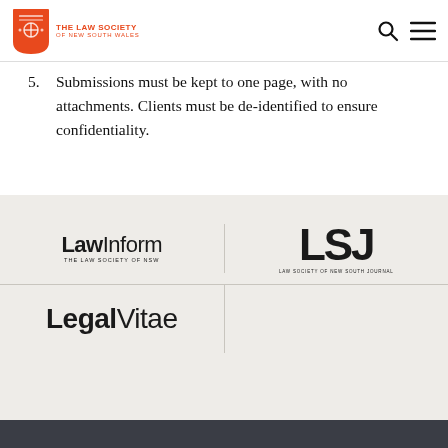The Law Society of New South Wales
5. Submissions must be kept to one page, with no attachments. Clients must be de-identified to ensure confidentiality.
[Figure (logo): LawInform - The Law Society of NSW logo]
[Figure (logo): LSJ - Law Society of New South Wales Journal logo]
[Figure (logo): LegalVitae logo]